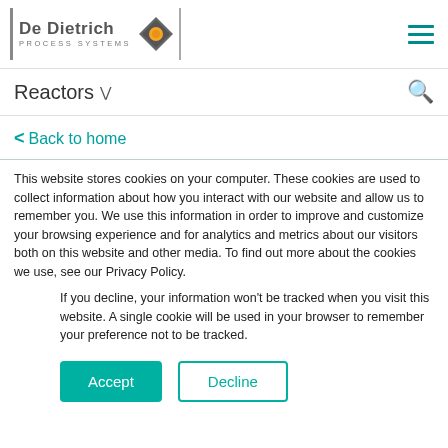[Figure (logo): De Dietrich Process Systems logo with diamond/eye icon]
Reactors
< Back to home
This website stores cookies on your computer. These cookies are used to collect information about how you interact with our website and allow us to remember you. We use this information in order to improve and customize your browsing experience and for analytics and metrics about our visitors both on this website and other media. To find out more about the cookies we use, see our Privacy Policy.
If you decline, your information won't be tracked when you visit this website. A single cookie will be used in your browser to remember your preference not to be tracked.
Accept
Decline